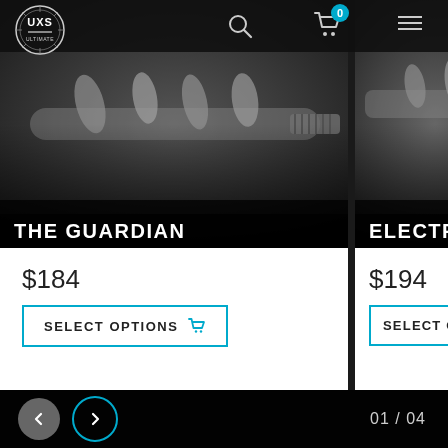[Figure (screenshot): UXS logo — circular badge with stylized UXS lettering]
[Figure (photo): Product image of The Guardian — a metallic camshaft/auto part on dark background]
THE GUARDIAN
$184
SELECT OPTIONS
[Figure (photo): Product image of Electrum — a metallic auto part on dark background, partially cropped]
ELECTRUM
$194
SELECT OPTIONS
01 / 04